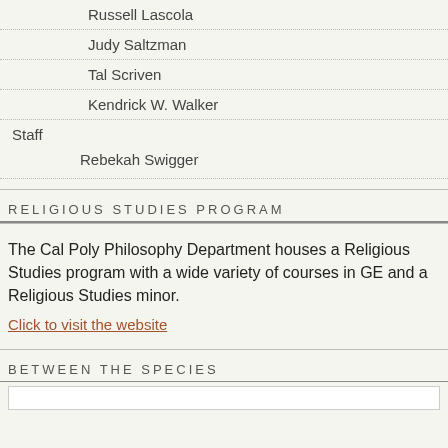Russell Lascola
Judy Saltzman
Tal Scriven
Kendrick W. Walker
Staff
Rebekah Swigger
RELIGIOUS STUDIES PROGRAM
The Cal Poly Philosophy Department houses a Religious Studies program with a wide variety of courses in GE and a Religious Studies minor.
Click to visit the website
BETWEEN THE SPECIES